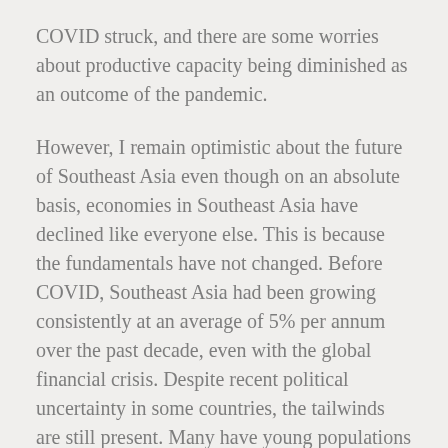COVID struck, and there are some worries about productive capacity being diminished as an outcome of the pandemic.
However, I remain optimistic about the future of Southeast Asia even though on an absolute basis, economies in Southeast Asia have declined like everyone else. This is because the fundamentals have not changed. Before COVID, Southeast Asia had been growing consistently at an average of 5% per annum over the past decade, even with the global financial crisis. Despite recent political uncertainty in some countries, the tailwinds are still present. Many have young populations and are urbanising rapidly. There are significant productivity gains, such as in energy and resource use, when populations move from rural regions to urban centres. As a result,